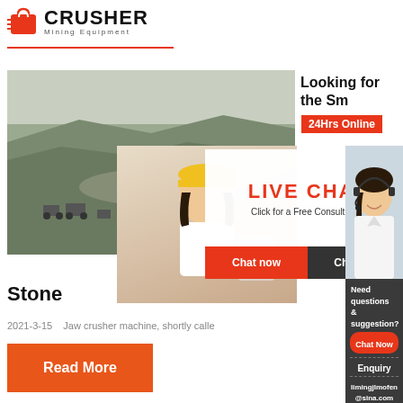[Figure (logo): Crusher Mining Equipment logo with red shopping bag icon and bold CRUSHER text]
CRUSHER Mining Equipment
[Figure (photo): Mining quarry scene with heavy machinery on grey terrain]
Looking for the Sm
[Figure (photo): Live chat overlay with workers in yellow hard hats and a headset customer service representative. Text: LIVE CHAT, Click for a Free Consultation, 24Hrs Online, Chat now, Chat later]
Stone
2021-3-15    Jaw crusher machine, shortly calle
[Figure (other): Read More orange button]
Need questions & suggestion? Chat Now
Enquiry
limingjlmofen@sina.com